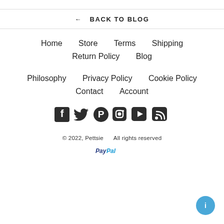← BACK TO BLOG
Home   Store   Terms   Shipping
Return Policy   Blog
Philosophy   Privacy Policy   Cookie Policy
Contact   Account
[Figure (infographic): Social media icons row: Facebook, Twitter, Pinterest, Instagram, YouTube, RSS]
© 2022, Pettsie    All rights reserved
[Figure (logo): PayPal payment logo]
[Figure (other): Blue circular chat/info button in bottom right corner]